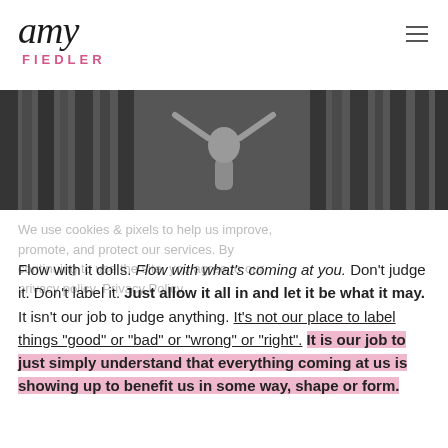[Figure (logo): Amy Fiedler logo — cursive 'amy' in black with 'FIEDLER' in pink block capitals below]
[Figure (photo): Black and white banner photo of a woman with arms raised above her head in a fitness pose, standing between vertical structural columns]
We use cookies & pixels to help us improve, promote, and protect our services. By continuing to use the site, you agree to our privacy policy. Privacy Policy
Flow with it dolls. Flow with what's coming at you. Don't judge it. Don't label it. Just allow it all in and let it be what it may. It isn't our job to judge anything. It's not our place to label things "good" or "bad" or "wrong" or "right". It is our job to just simply understand that everything coming at us is showing up to benefit us in some way, shape or form.